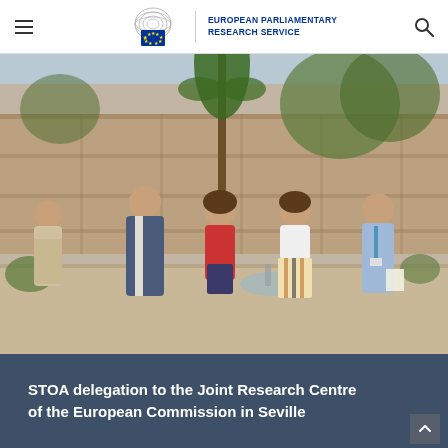European Parliamentary Research Service
[Figure (photo): Group photo of five people (STOA delegation) standing in an outdoor courtyard of a modern building with trees, shrubs and a fountain visible in the background. Three men and two women are standing in a line. The leftmost man wears a light shirt, next is a tall man in a dark blue suit, then a woman in a red top, then a woman in a white top with striped skirt, and on the right a man in a light blue shirt with a lanyard.]
STOA delegation to the Joint Research Centre of the European Commission in Seville